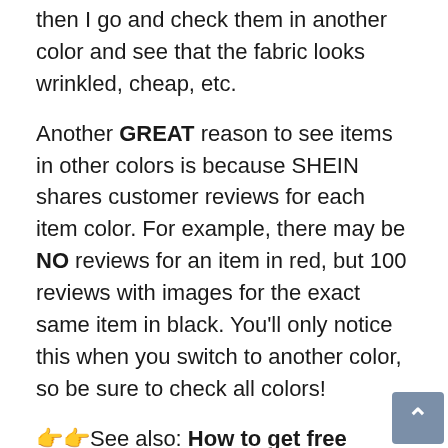then I go and check them in another color and see that the fabric looks wrinkled, cheap, etc.
Another GREAT reason to see items in other colors is because SHEIN shares customer reviews for each item color. For example, there may be NO reviews for an item in red, but 100 reviews with images for the exact same item in black. You'll only notice this when you switch to another color, so be sure to check all colors!
👉👉See also: How to get free clothes on Shein
Check the description of the fabric and material
Okay, these clothes are cheap for a reason; they are mostly made with low-quality fabrics,